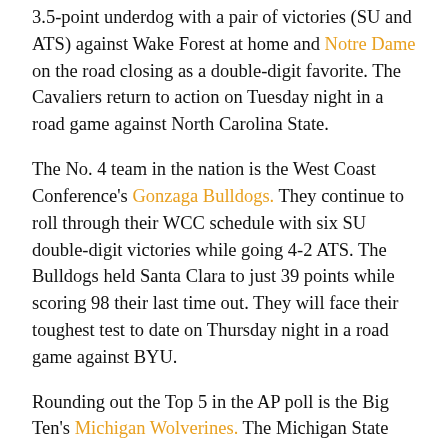3.5-point underdog with a pair of victories (SU and ATS) against Wake Forest at home and Notre Dame on the road closing as a double-digit favorite. The Cavaliers return to action on Tuesday night in a road game against North Carolina State.
The No. 4 team in the nation is the West Coast Conference's Gonzaga Bulldogs. They continue to roll through their WCC schedule with six SU double-digit victories while going 4-2 ATS. The Bulldogs held Santa Clara to just 39 points while scoring 98 their last time out. They will face their toughest test to date on Thursday night in a road game against BYU.
Rounding out the Top 5 in the AP poll is the Big Ten's Michigan Wolverines. The Michigan State Spartans were ranked No. 5 in last week's Coaches Poll, but they should drop a bit this week after losing to Purdue 73-63 on Sunday as slight 1.5-point road underdogs on